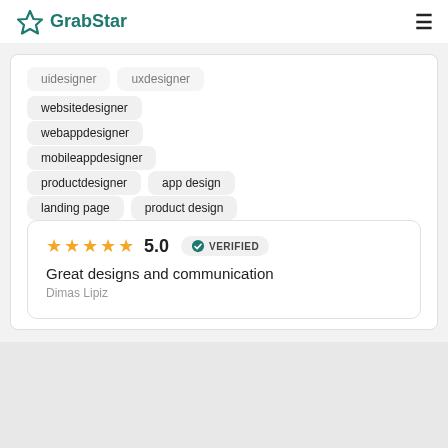GrabStar
uidesigner
uxdesigner
websitedesigner
webappdesigner
mobileappdesigner
productdesigner
app design
landing page
product design
5.0 VERIFIED
Great designs and communication
Dimas Lipiz